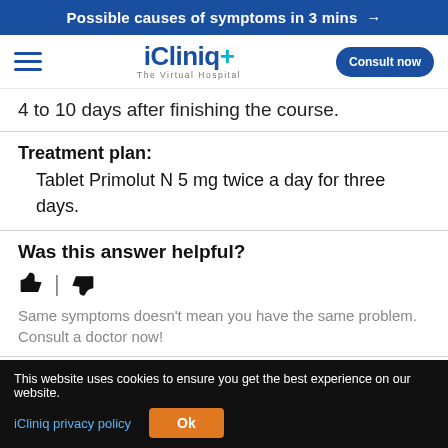Possible causes of symptoms in 3 mins →
[Figure (logo): iCliniq+ The Virtual Hospital logo with hamburger menu and Consult now button]
4 to 10 days after finishing the course.
Treatment plan:
Tablet Primolut N 5 mg twice a day for three days.
Was this answer helpful?
👍 | 👎
Same symptoms doesn't mean you have the same problem. Consult a doctor now!
Dr. Eeshani Dutta
This website uses cookies to ensure you get the best experience on our website.
iCliniq privacy policy   Ok